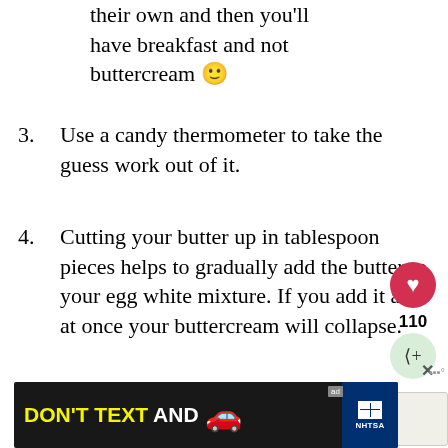their own and then you'll have breakfast and not buttercream 🙂
3. Use a candy thermometer to take the guess work out of it.
4. Cutting your butter up in tablespoon pieces helps to gradually add the butter to your egg white mixture. If you add it all at once your buttercream will collapse.
5. Make sure your butter is room temperature, about 75 degrees. If your butter is too cold or too warm your buttercream will break.
[Figure (other): Advertisement banner: DON'T TEXT AND [car image] with NHTSA logo]